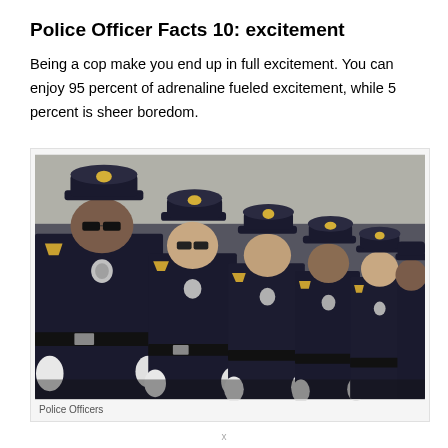Police Officer Facts 10: excitement
Being a cop make you end up in full excitement. You can enjoy 95 percent of adrenaline fueled excitement, while 5 percent is sheer boredom.
[Figure (photo): A row of police officers in dark dress uniforms with white gloves and badges, standing at attention in a formal line.]
Police Officers